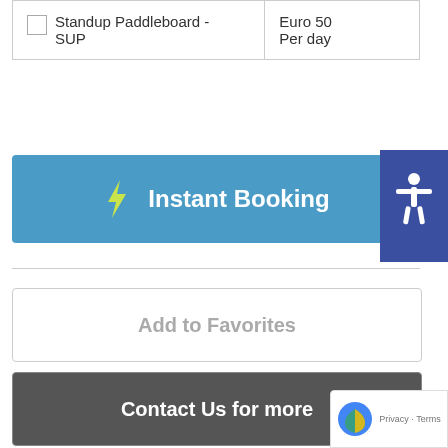| Standup Paddleboard - SUP | Euro 50
Per day |
Instant Booking
Add to Favorites
Contact Us for more
Share